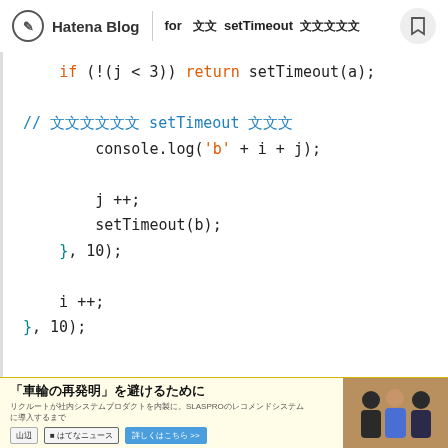Hatena Blog — for 文 setTimeout 文文文文文
[Figure (screenshot): Code block showing JavaScript with setTimeout, console.log, and comment block. Code uses syntax highlighting: orange for keywords/strings, teal for braces, blue for comments/Japanese text.]
[Figure (screenshot): Advertisement banner at page bottom: '「車輪の再発明」を避けるために' with sub-text and two buttons, and a photo of three people on the right.]